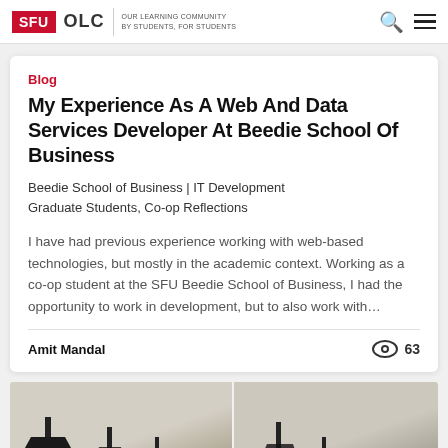SFU OLC | OUR LEARNING COMMUNITY BY STUDENTS, FOR STUDENTS
Blog
My Experience As A Web And Data Services Developer At Beedie School Of Business
Beedie School of Business | IT Development Graduate Students, Co-op Reflections
I have had previous experience working with web-based technologies, but mostly in the academic context. Working as a co-op student at the SFU Beedie School of Business, I had the opportunity to work in development, but to also work with…
Amit Mandal
63
[Figure (photo): Photograph of pendant lamps hanging from ceiling, showing multiple modern black lamp silhouettes against a light background, split into two panels]